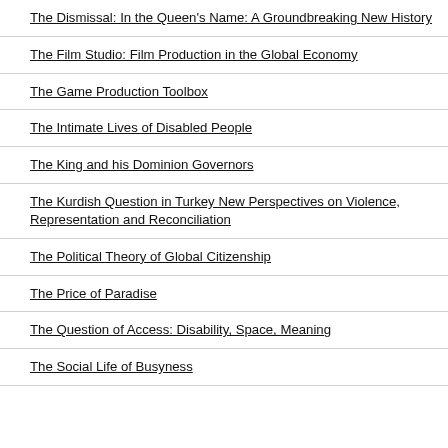The Dismissal: In the Queen's Name: A Groundbreaking New History
The Film Studio: Film Production in the Global Economy
The Game Production Toolbox
The Intimate Lives of Disabled People
The King and his Dominion Governors
The Kurdish Question in Turkey New Perspectives on Violence, Representation and Reconciliation
The Political Theory of Global Citizenship
The Price of Paradise
The Question of Access: Disability, Space, Meaning
The Social Life of Busyness